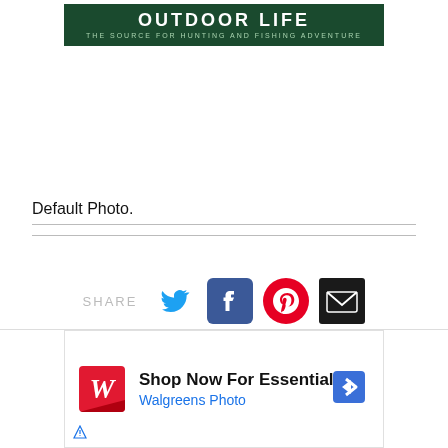[Figure (logo): Outdoor Life logo banner: dark green background with white uppercase text and subtitle 'THE SOURCE FOR HUNTING AND FISHING ADVENTURE']
Default Photo.
[Figure (infographic): Social share bar with SHARE label and icons for Twitter, Facebook, Pinterest, and Email]
[Figure (photo): Walgreens advertisement: 'Shop Now For Essentials' with Walgreens Photo branding, red Walgreens logo, blue navigation arrow icon, and AdChoices icon]